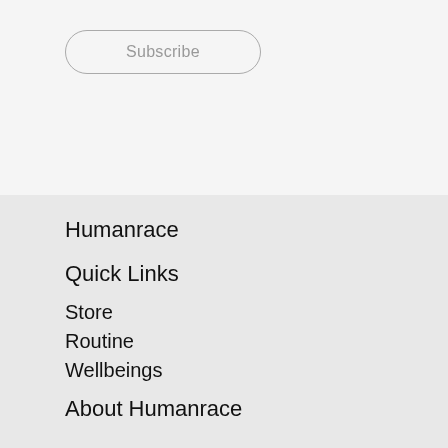Subscribe
Humanrace
Quick Links
Store
Routine
Wellbeings
About Humanrace
By clicking “Accept All Cookies”, you agree to the storing of cookies on your device to enhance site navigation, analyze site usage, and assist in our marketing efforts.
Cookies Settings
Accept All Cookies